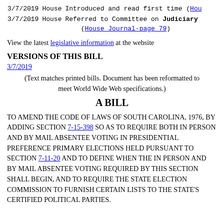| Date | Chamber | Action |
| --- | --- | --- |
| 3/7/2019 | House | Introduced and read first time (Hou... |
| 3/7/2019 | House | Referred to Committee on Judiciary (House Journal-page 79) |
View the latest legislative information at the website
VERSIONS OF THIS BILL
3/7/2019
(Text matches printed bills. Document has been reformatted to meet World Wide Web specifications.)
A BILL
TO AMEND THE CODE OF LAWS OF SOUTH CAROLINA, 1976, BY ADDING SECTION 7-15-398 SO AS TO REQUIRE BOTH IN PERSON AND BY MAIL ABSENTEE VOTING IN PRESIDENTIAL PREFERENCE PRIMARY ELECTIONS HELD PURSUANT TO SECTION 7-11-20 AND TO DEFINE WHEN THE IN PERSON AND BY MAIL ABSENTEE VOTING REQUIRED BY THIS SECTION SHALL BEGIN, AND TO REQUIRE THE STATE ELECTION COMMISSION TO FURNISH CERTAIN LISTS TO THE STATE'S CERTIFIED POLITICAL PARTIES.